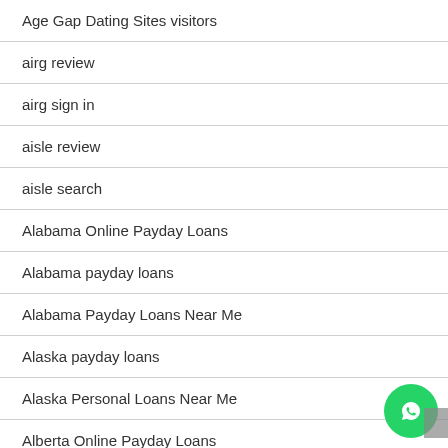Age Gap Dating Sites visitors
airg review
airg sign in
aisle review
aisle search
Alabama Online Payday Loans
Alabama payday loans
Alabama Payday Loans Near Me
Alaska payday loans
Alaska Personal Loans Near Me
Alberta Online Payday Loans
All Payday Loans
allamericandating.com online-dating-free-sites